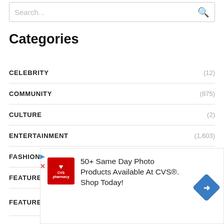Search...
Categories
CELEBRITY (12)
COMMUNITY (875)
CULTURE (2)
ENTERTAINMENT (1,603)
FASHION (289)
FEATURED (5)
FEATURED POST (2)
[Figure (other): CVS Pharmacy advertisement: 50+ Same Day Photo Products Available At CVS®. Shop Today! with CVS logo and blue navigation arrow icon.]